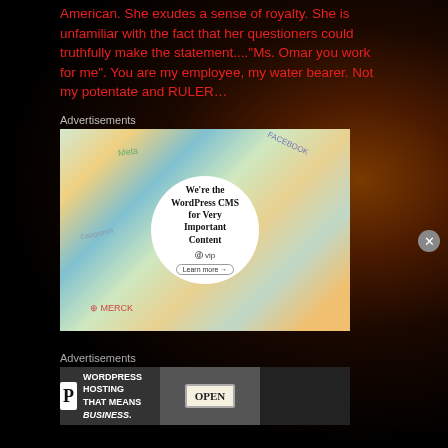American. She exudes a sense of royalty. She is unfamiliar with the fact that her questioners could truthfully make the statement...."Ms. Omar you work for me". You are my employee, my water bearer. Not my potentate and RULER...
Advertisements
[Figure (screenshot): WordPress VIP advertisement showing a circular white badge with text 'We're the WordPress CMS for Very Important Content' and a 'Learn more' button, surrounded by colorful tiles with brand logos including Meta, Facebook, Capgemini, Merck]
Advertisements
[Figure (screenshot): WordPress hosting banner ad showing 'WORDPRESS HOSTING THAT MEANS BUSINESS.' with a P logo icon and an OPEN sign photo]